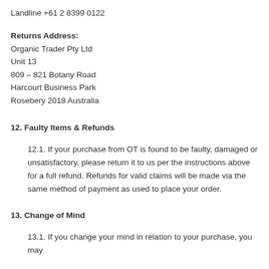Landline +61 2 8399 0122
Returns Address:
Organic Trader Pty Ltd
Unit 13
809 – 821 Botany Road
Harcourt Business Park
Rosebery 2018 Australia
12. Faulty Items & Refunds
12.1. If your purchase from OT is found to be faulty, damaged or unsatisfactory, please return it to us per the instructions above for a full refund. Refunds for valid claims will be made via the same method of payment as used to place your order.
13. Change of Mind
13.1. If you change your mind in relation to your purchase, you may